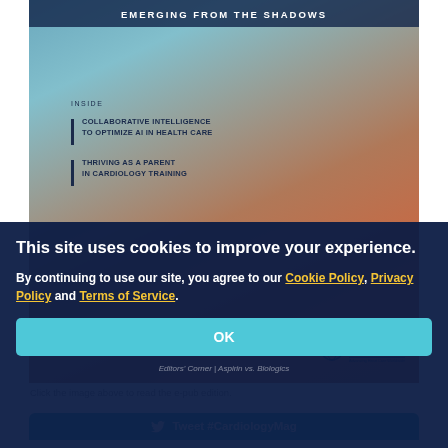[Figure (screenshot): Magazine cover for American College of Cardiology Cardiology magazine. Shows gradient background from teal/blue to orange. Title 'EMERGING FROM THE SHADOWS' at top in dark bar. Inside section lists: 'COLLABORATIVE INTELLIGENCE TO OPTIMIZE AI IN HEALTH CARE' and 'THRIVING AS A PARENT IN CARDIOLOGY TRAINING'. ACC globe logo at bottom right.]
Click the image above to read the e-pub edition.
Tweet #CardiologyMag
This site uses cookies to improve your experience.
By continuing to use our site, you agree to our Cookie Policy, Privacy Policy and Terms of Service.
OK